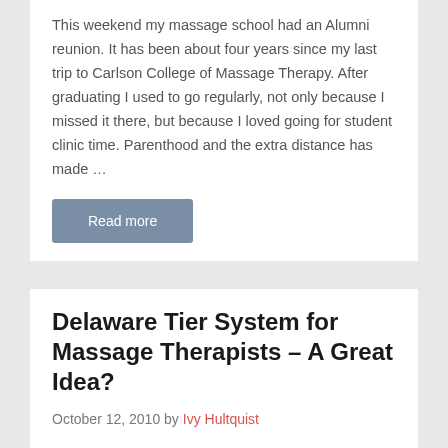This weekend my massage school had an Alumni reunion. It has been about four years since my last trip to Carlson College of Massage Therapy. After graduating I used to go regularly, not only because I missed it there, but because I loved going for student clinic time. Parenthood and the extra distance has made …
Read more
Delaware Tier System for Massage Therapists – A Great Idea?
October 12, 2010 by Ivy Hultquist
Delaware currently is one of a very few the states that